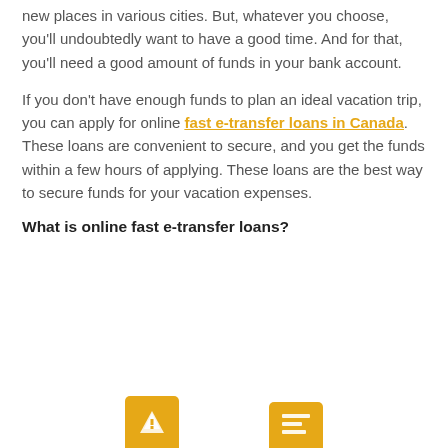new places in various cities. But, whatever you choose, you'll undoubtedly want to have a good time. And for that, you'll need a good amount of funds in your bank account.
If you don't have enough funds to plan an ideal vacation trip, you can apply for online fast e-transfer loans in Canada. These loans are convenient to secure, and you get the funds within a few hours of applying. These loans are the best way to secure funds for your vacation expenses.
What is online fast e-transfer loans?
[Figure (illustration): Two partial icon boxes with orange/gold background visible at the bottom of the page]